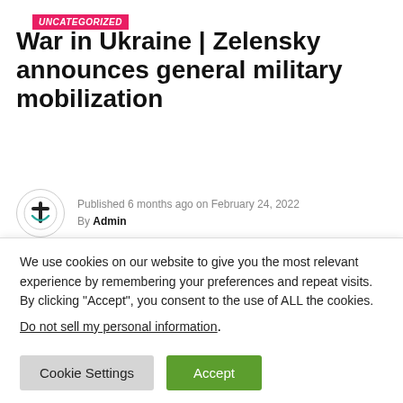UNCATEGORIZED
War in Ukraine | Zelensky announces general military mobilization
Published 6 months ago on February 24, 2022
By Admin
(Kiev) Deadly battles between Russians and Ukrainians were taking place on Thursday at the gates of Kiev and
We use cookies on our website to give you the most relevant experience by remembering your preferences and repeat visits. By clicking “Accept”, you consent to the use of ALL the cookies.
Do not sell my personal information.